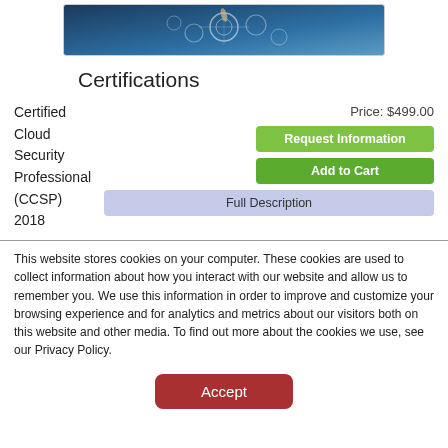[Figure (photo): Technology image showing a person interacting with digital icons/cloud interface]
Certifications
Certified Cloud Security Professional (CCSP) 2018
Price: $499.00
Request Information
Add to Cart
Full Description
This website stores cookies on your computer. These cookies are used to collect information about how you interact with our website and allow us to remember you. We use this information in order to improve and customize your browsing experience and for analytics and metrics about our visitors both on this website and other media. To find out more about the cookies we use, see our Privacy Policy.
Accept